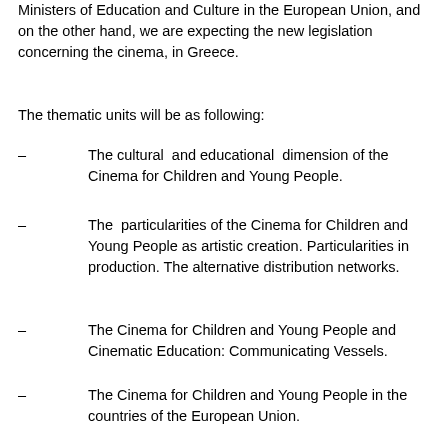Ministers of Education and Culture in the European Union, and on the other hand, we are expecting the new legislation concerning the cinema, in Greece.
The thematic units will be as following:
– The cultural and educational dimension of the Cinema for Children and Young People.
– The particularities of the Cinema for Children and Young People as artistic creation. Particularities in production. The alternative distribution networks.
– The Cinema for Children and Young People and Cinematic Education: Communicating Vessels.
– The Cinema for Children and Young People in the countries of the European Union.